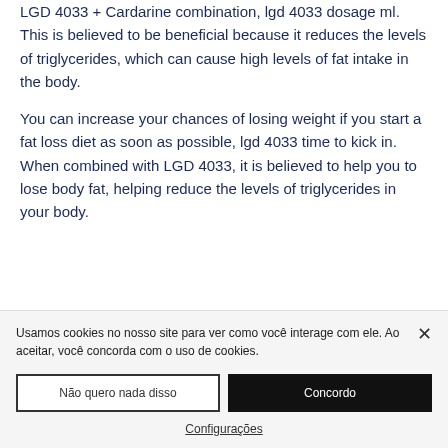LGD 4033 + Cardarine combination, lgd 4033 dosage ml. This is believed to be beneficial because it reduces the levels of triglycerides, which can cause high levels of fat intake in the body.
You can increase your chances of losing weight if you start a fat loss diet as soon as possible, lgd 4033 time to kick in. When combined with LGD 4033, it is believed to help you to lose body fat, helping reduce the levels of triglycerides in your body.
Usamos cookies no nosso site para ver como você interage com ele. Ao aceitar, você concorda com o uso de cookies.
Não quero nada disso
Concordo
Configurações